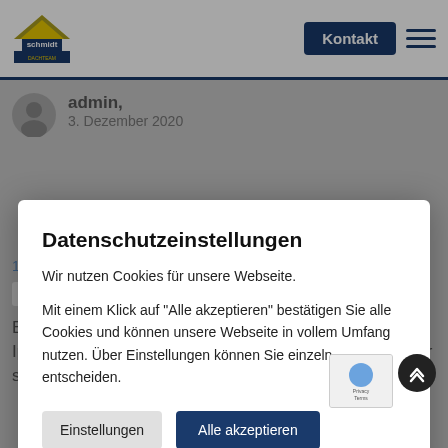[Figure (screenshot): Schmidt Dachteam website navigation bar with logo, Kontakt button, and hamburger menu]
admin,
3. Dezember 2020
[Figure (screenshot): Cookie consent modal dialog overlay on a German website]
Datenschutzeinstellungen
Wir nutzen Cookies für unsere Webseite.
Mit einem Klick auf "Alle akzeptieren" bestätigen Sie alle Cookies und können unsere Webseite in vollem Umfang nutzen. Über Einstellungen können Sie einzeln entscheiden.
Einstellungen
Alle akzeptieren
1. Dezember 2020
Reply
Bmmy text of the printing and typesetting industryorem Ipsum been the industry sear standard dummy text ever since thein. Bmmy text of